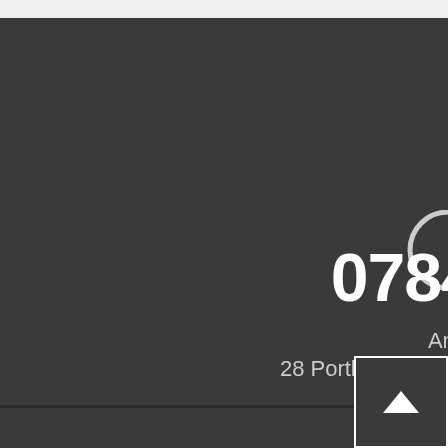0784
Anim
28 Portland Way, Cli
info@an
[Figure (illustration): Facebook social media icon (letter f) in white on dark background]
[Figure (illustration): Back to top button: square with upward pointing chevron arrow in white outline]